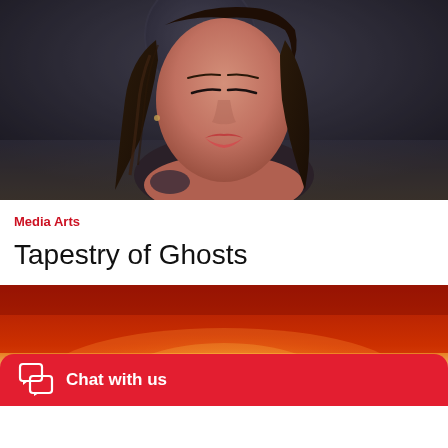[Figure (photo): Digital/3D rendered portrait of a dark-haired woman with eyes closed, wearing dark clothing, against a moody dark background with a large moon]
Media Arts
Tapestry of Ghosts
[Figure (photo): Landscape photograph showing a dramatic sunset or sunrise with a bright glowing sun on the horizon against a red-orange sky]
Chat with us